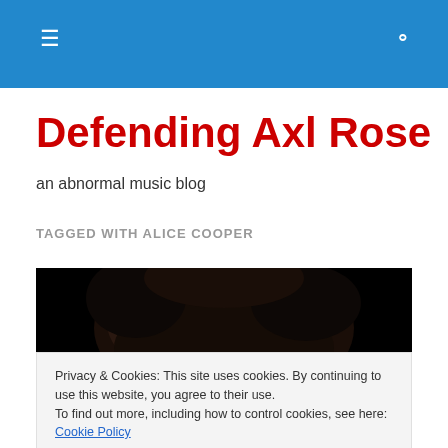Defending Axl Rose — navigation bar with hamburger menu and search icon
Defending Axl Rose
an abnormal music blog
TAGGED WITH ALICE COOPER
[Figure (photo): Photo of a person (likely Alice Cooper) with dark hair against a black background, partially visible]
Privacy & Cookies: This site uses cookies. By continuing to use this website, you agree to their use.
To find out more, including how to control cookies, see here: Cookie Policy
Close and accept
[Figure (photo): Bottom strip of another photo showing a person with colorful clothing]